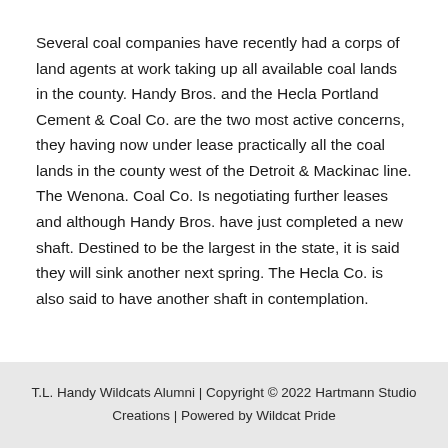Several coal companies have recently had a corps of land agents at work taking up all available coal lands in the county. Handy Bros. and the Hecla Portland Cement & Coal Co. are the two most active concerns, they having now under lease practically all the coal lands in the county west of the Detroit & Mackinac line. The Wenona. Coal Co. Is negotiating further leases and although Handy Bros. have just completed a new shaft. Destined to be the largest in the state, it is said they will sink another next spring. The Hecla Co. is also said to have another shaft in contemplation.
T.L. Handy Wildcats Alumni | Copyright © 2022 Hartmann Studio Creations | Powered by Wildcat Pride